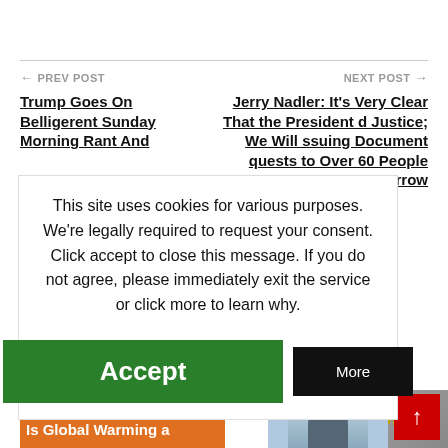← PREV POST
NEXT POST →
Trump Goes On Belligerent Sunday Morning Rant And
Jerry Nadler: It's Very Clear That the President d Justice; We Will ssuing Document quests to Over 60 People Tomorrow
This site uses cookies for various purposes. We're legally required to request your consent. Click accept to close this message. If you do not agree, please immediately exit the service or click more to learn why.
Accept
More
More From Author
[Figure (photo): Photo of a person in front of a building]
[Figure (photo): Thumbnail with orange background and text 'Is Global Warming a']